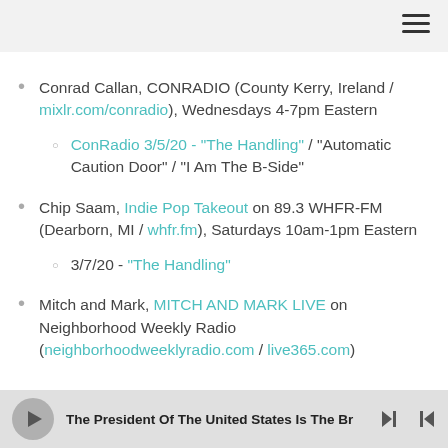There Once Was A Note 3/5/20 - "A Good Road Is Hard To Find"
Conrad Callan, CONRADIO (County Kerry, Ireland / mixlr.com/conradio), Wednesdays 4-7pm Eastern
ConRadio 3/5/20 - "The Handling" / "Automatic Caution Door" / "I Am The B-Side"
Chip Saam, Indie Pop Takeout on 89.3 WHFR-FM (Dearborn, MI / whfr.fm), Saturdays 10am-1pm Eastern
3/7/20 - "The Handling"
Mitch and Mark, MITCH AND MARK LIVE on Neighborhood Weekly Radio (neighborhoodweeklyradio.com / live365.com)
The President Of The United States Is The Br